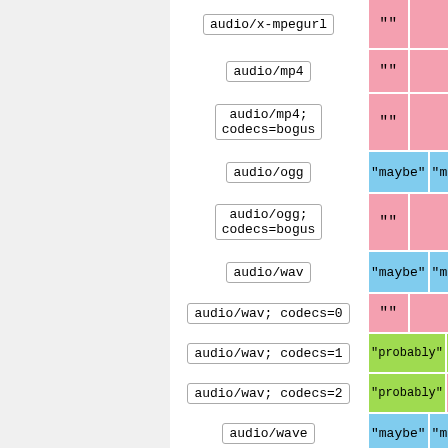| MIME type | Value 1 | Value 2 |
| --- | --- | --- |
| audio/x-mpegurl | "" |  |
| audio/mp4 | "" |  |
| audio/mp4; codecs=bogus | "" |  |
| audio/ogg | "maybe" | "m... |
| audio/ogg; codecs=bogus | "" |  |
| audio/wav | "maybe" | "m... |
| audio/wav; codecs=0 | "" |  |
| audio/wav; codecs=1 | "probably" | "pro... |
| audio/wav; codecs=2 | "probably" |  |
| audio/wave | "maybe" | "m... |
| audio/wave; codecs=0 | "" |  |
| audio/wave; codecs=1 | "probably" | "pro... |
| audio/wave; |  |  |